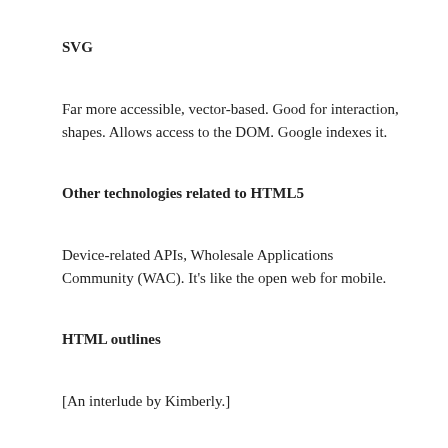SVG
Far more accessible, vector-based. Good for interaction, shapes. Allows access to the DOM. Google indexes it.
Other technologies related to HTML5
Device-related APIs, Wholesale Applications Community (WAC). It’s like the open web for mobile.
HTML outlines
[An interlude by Kimberly.]
In HTML5 each of the sectioning elements starts a new tree. section, article, aside, nav. You can start again with an h1 as the top-level heading inside of